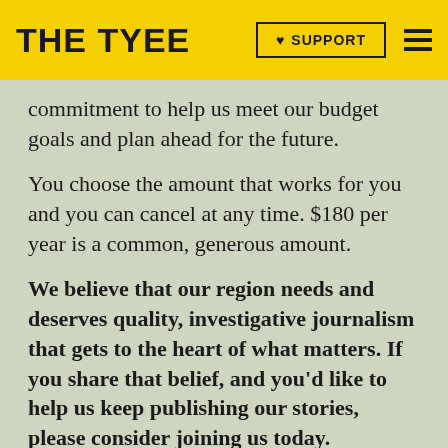THE TYEE | ♥ SUPPORT
commitment to help us meet our budget goals and plan ahead for the future.
You choose the amount that works for you and you can cancel at any time. $180 per year is a common, generous amount.
We believe that our region needs and deserves quality, investigative journalism that gets to the heart of what matters. If you share that belief, and you'd like to help us keep publishing our stories, please consider joining us today.
Jeanette Ageson, Publisher